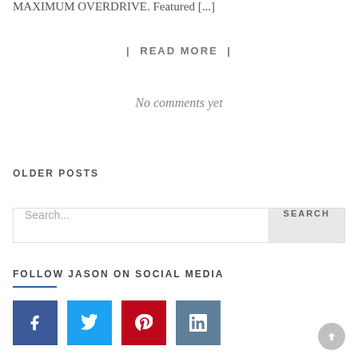MAXIMUM OVERDRIVE. Featured [...]
| READ MORE |
No comments yet
OLDER POSTS
Search...
FOLLOW JASON ON SOCIAL MEDIA
[Figure (other): Four social media icon buttons: Facebook (dark blue), Twitter (light blue), Pinterest (red), LinkedIn (slate blue). A circular back-to-top button appears at bottom right.]